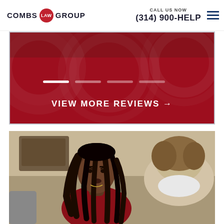COMBS LAW GROUP | CALL US NOW (314) 900-HELP
[Figure (screenshot): Red banner section with slider dots and VIEW MORE REVIEWS arrow button on dark crimson background with faint circular watermark patterns]
[Figure (photo): A young Black woman with long braids wearing a dark red top, seated and looking seriously at another person (seen from behind) in what appears to be a law office consultation setting]